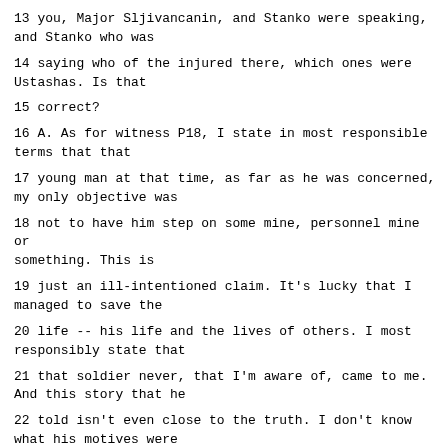13 you, Major Sljivancanin, and Stanko were speaking, and Stanko who was
14 saying who of the injured there, which ones were Ustashas. Is that
15 correct?
16 A. As for witness P18, I state in most responsible terms that that
17 young man at that time, as far as he was concerned, my only objective was
18 not to have him step on some mine, personnel mine or something. This is
19 just an ill-intentioned claim. It's lucky that I managed to save the
20 life -- his life and the lives of others. I most responsibly state that
21 that soldier never, that I'm aware of, came to me. And this story that he
22 told isn't even close to the truth. I don't know what his motives were
23 for telling it, but what he said is absolutely inconceivable to me.